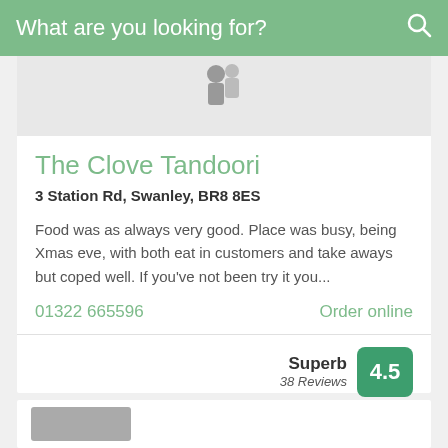What are you looking for?
[Figure (photo): Partial restaurant logo/icon image, cropped at top of card]
The Clove Tandoori
3 Station Rd, Swanley, BR8 8ES
Food was as always very good. Place was busy, being Xmas eve, with both eat in customers and take aways but coped well. If you've not been try it you...
01322 665596
Order online
Superb
38 Reviews
4.5